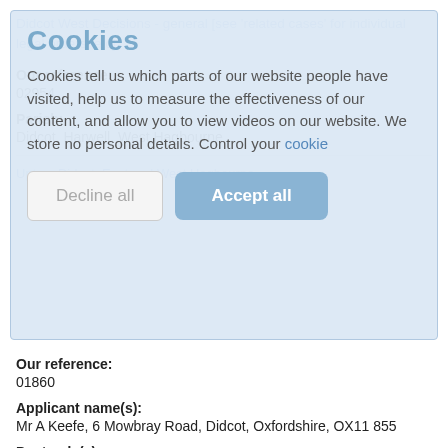Didcot West Decisions - general [see 'related cases' for individual legal orders, etc]
Our reference:
02954
Parish:
Didcot, Harwell, West Hagbourne
Upton, Didcot, East and West Hagbourne
[Figure (screenshot): Cookie consent overlay with title 'Cookies', body text explaining cookie usage, 'Decline all' and 'Accept all' buttons]
Our reference:
01860
Applicant name(s):
Mr A Keefe, 6 Mowbray Road, Didcot, Oxfordshire, OX11 855
Postcode(s):
OX11 9LX
Parish: